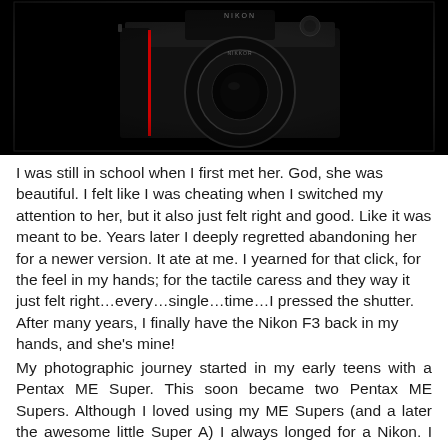[Figure (photo): Close-up photograph of a Nikon F3 film camera against a dark/black background, showing the camera body and lens with Nikon branding visible.]
I was still in school when I first met her. God, she was beautiful. I felt like I was cheating when I switched my attention to her, but it also just felt right and good. Like it was meant to be. Years later I deeply regretted abandoning her for a newer version. It ate at me. I yearned for that click, for the feel in my hands; for the tactile caress and they way it just felt right…every…single…time…I pressed the shutter. After many years, I finally have the Nikon F3 back in my hands, and she's mine!
My photographic journey started in my early teens with a Pentax ME Super. This soon became two Pentax ME Supers. Although I loved using my ME Supers (and a later the awesome little Super A) I always longed for a Nikon. I was probably caught up in the hyperbole of marketing